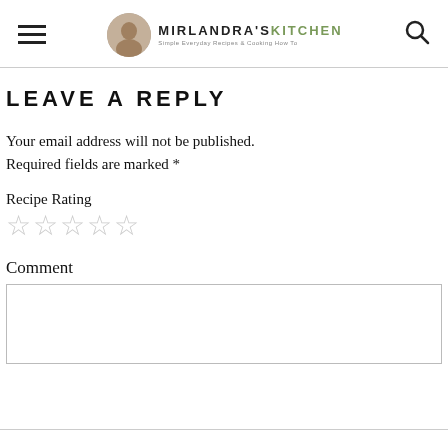MIRLANDRA'S KITCHEN — Simple Everyday Recipes & Cooking How To
LEAVE A REPLY
Your email address will not be published. Required fields are marked *
Recipe Rating
[Figure (other): Five empty star rating icons for recipe rating]
Comment
[Figure (other): Empty comment text area input box]